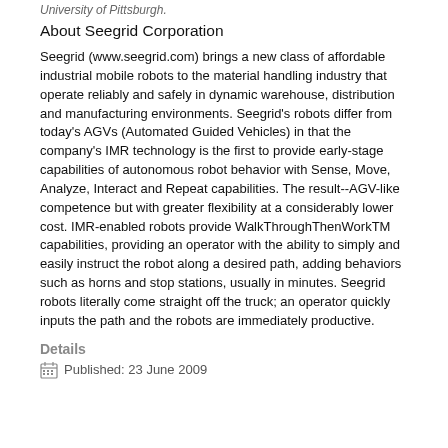University of Pittsburgh.
About Seegrid Corporation
Seegrid (www.seegrid.com) brings a new class of affordable industrial mobile robots to the material handling industry that operate reliably and safely in dynamic warehouse, distribution and manufacturing environments. Seegrid's robots differ from today's AGVs (Automated Guided Vehicles) in that the company's IMR technology is the first to provide early-stage capabilities of autonomous robot behavior with Sense, Move, Analyze, Interact and Repeat capabilities. The result--AGV-like competence but with greater flexibility at a considerably lower cost. IMR-enabled robots provide WalkThroughThenWorkTM capabilities, providing an operator with the ability to simply and easily instruct the robot along a desired path, adding behaviors such as horns and stop stations, usually in minutes. Seegrid robots literally come straight off the truck; an operator quickly inputs the path and the robots are immediately productive.
Details
Published: 23 June 2009